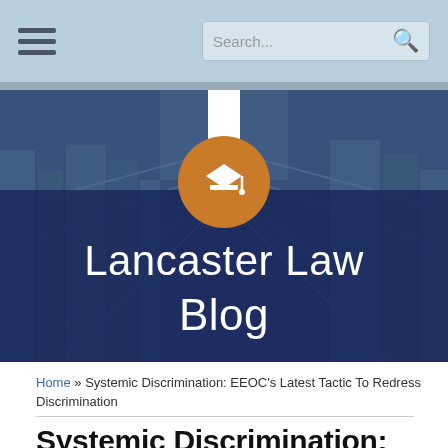Lancaster Law Blog - navigation header with search
[Figure (screenshot): Lancaster Law Blog hero banner with orange circle logo containing a graduation cap icon, dark blue overlay, and building photograph background]
Lancaster Law Blog
Home » Systemic Discrimination: EEOC's Latest Tactic To Redress Discrimination
Systemic Discrimination: